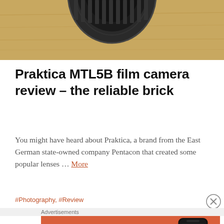[Figure (photo): Partial view of a camera lens on a wooden surface, warm tan/wood-grain background, top portion of lens visible]
Praktica MTL5B film camera review – the reliable brick
You might have heard about Praktica, a brand from the East German state-owned company Pentacon that created some popular lenses … More
#Photography, #Review
Advertisements
[Figure (screenshot): DuckDuckGo advertisement banner: orange background with text 'Search, browse, and email with more privacy. All in One Free App' and a smartphone showing the DuckDuckGo app with the duck logo]